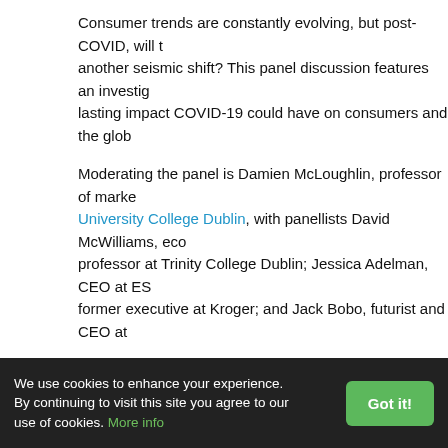Consumer trends are constantly evolving, but post-COVID, will there be another seismic shift? This panel discussion features an investigation of the lasting impact COVID-19 could have on consumers and the glob...
Moderating the panel is Damien McLoughlin, professor of marke... University College Dublin, with panellists David McWilliams, eco... professor at Trinity College Dublin; Jessica Adelman, CEO at ES... former executive at Kroger; and Jack Bobo, futurist and CEO at...
Keep calm and carry on: the essential business of agriculture
In this panel discussion, experts investigate how the current cris... the agriculture sector. What permanent changes could COVID-1... we source, produce and deliver food to market? Will there be a r... automation and supply chain provenance? Mary Shelman, forme... Harvard Business School's Agribusiness Programme, moderates... John Young Simpson, president of Bluegrass Partners in Singap... Quarles, Kentucky Commissioner of Agriculture; Mike Osborne,... president and CEO of Nutra Blend; and Kayla Price, technical m... Altech Canada.
We use cookies to enhance your experience. By continuing to visit this site you agree to our use of cookies. More info